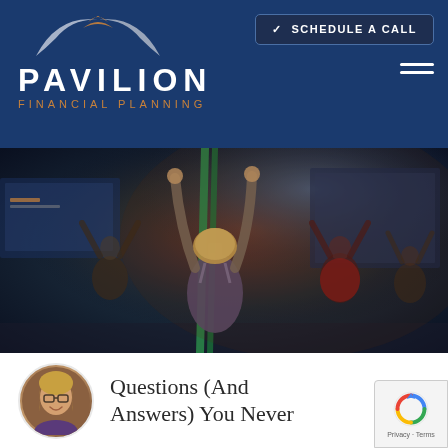[Figure (logo): Pavilion Financial Planning logo with arch/wing icon above text, white text on dark blue background, with orange subtitle text]
[Figure (screenshot): Dark blue navigation header with 'SCHEDULE A CALL' button and hamburger menu on the right side]
[Figure (photo): Photo of a group fitness class with people exercising with resistance bands, main subject is a blonde woman in athletic wear with arms raised]
[Figure (photo): Circular avatar photo of a woman with glasses and blonde hair, smiling]
Questions (And Answers) You Never
[Figure (other): reCAPTCHA badge showing the Google reCAPTCHA logo and Privacy - Terms text]